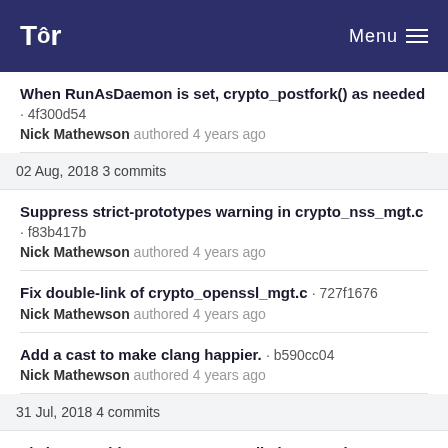Tor  Menu
When RunAsDaemon is set, crypto_postfork() as needed · 4f300d54
Nick Mathewson authored 4 years ago
02 Aug, 2018 3 commits
Suppress strict-prototypes warning in crypto_nss_mgt.c · f83b417b
Nick Mathewson authored 4 years ago
Fix double-link of crypto_openssl_mgt.c · 727f1676
Nick Mathewson authored 4 years ago
Add a cast to make clang happier. · b590cc04
Nick Mathewson authored 4 years ago
31 Jul, 2018 4 commits
Fix issues with crypto_ope compilation now that crypto.h is ...